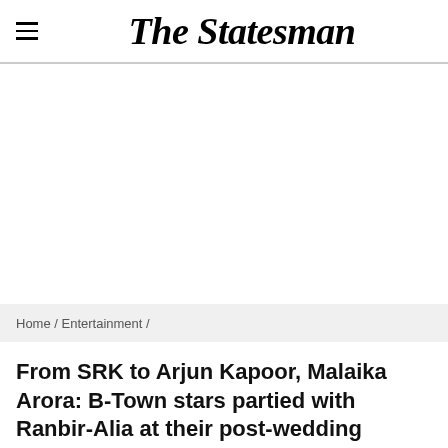The Statesman
[Figure (other): Advertisement or blank image placeholder area]
Home / Entertainment /
From SRK to Arjun Kapoor, Malaika Arora: B-Town stars partied with Ranbir-Alia at their post-wedding